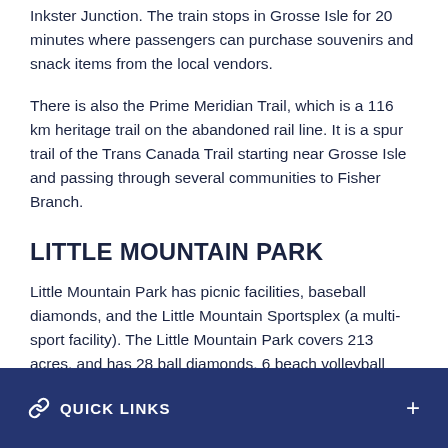Inkster Junction. The train stops in Grosse Isle for 20 minutes where passengers can purchase souvenirs and snack items from the local vendors.
There is also the Prime Meridian Trail, which is a 116 km heritage trail on the abandoned rail line. It is a spur trail of the Trans Canada Trail starting near Grosse Isle and passing through several communities to Fisher Branch.
LITTLE MOUNTAIN PARK
Little Mountain Park has picnic facilities, baseball diamonds, and the Little Mountain Sportsplex (a multi-sport facility). The Little Mountain Park covers 213 acres, and has 28 ball diamonds, 6 beach volleyball courts and a meeting
QUICK LINKS +